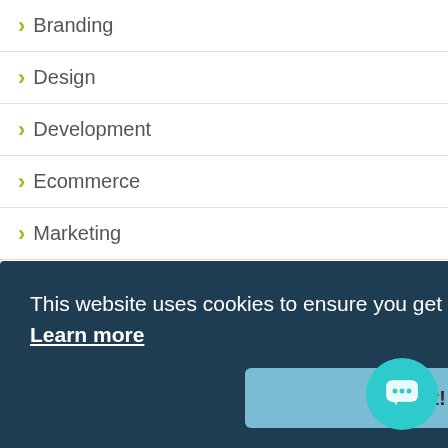> Branding
> Design
> Development
> Ecommerce
> Marketing
> Multilingual
> PPC
> SEO
> Social Media
This website uses cookies to ensure you get the best experience on our website. Learn more
Got it!